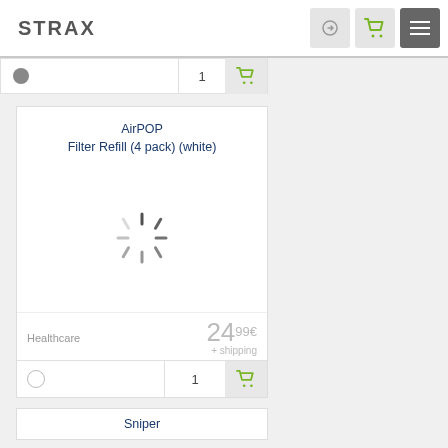STRAX
[Figure (screenshot): Product listing row with gray circle dot, quantity 1, and green cart button]
[Figure (screenshot): Product card for AirPOP Filter Refill (4 pack) (white) with loading spinner, Healthcare category, price 24.99€ + shipping, quantity 1 and green cart button]
AirPOP Filter Refill (4 pack) (white)
Healthcare
24.99€ + shipping
[Figure (screenshot): Bottom of page showing beginning of another product card with partial title starting with 'Sniper']